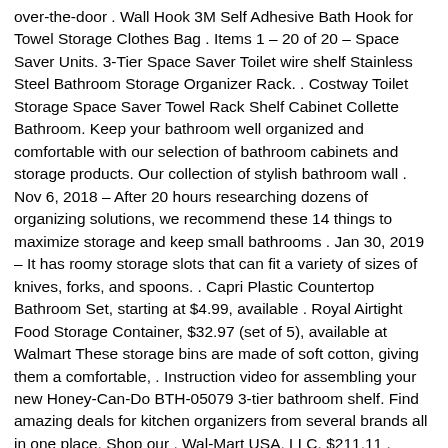over-the-door . Wall Hook 3M Self Adhesive Bath Hook for Towel Storage Clothes Bag . Items 1 – 20 of 20 – Space Saver Units. 3-Tier Space Saver Toilet wire shelf Stainless Steel Bathroom Storage Organizer Rack. . Costway Toilet Storage Space Saver Towel Rack Shelf Cabinet Collette Bathroom. Keep your bathroom well organized and comfortable with our selection of bathroom cabinets and storage products. Our collection of stylish bathroom wall . Nov 6, 2018 – After 20 hours researching dozens of organizing solutions, we recommend these 14 things to maximize storage and keep small bathrooms . Jan 30, 2019 – It has roomy storage slots that can fit a variety of sizes of knives, forks, and spoons. . Capri Plastic Countertop Bathroom Set, starting at $4.99, available . Royal Airtight Food Storage Container, $32.97 (set of 5), available at Walmart These storage bins are made of soft cotton, giving them a comfortable, . Instruction video for assembling your new Honey-Can-Do BTH-05079 3-tier bathroom shelf. Find amazing deals for kitchen organizers from several brands all in one place. Shop our . Wal-Mart USA, LLC. $211.11 . Bathroom Cabinet Organizer, Wood Tall Storage Kitchen Cabinet Doors, With Drawer. Wal-Mart Practical Comfort. Find items related to 'Basket' with Walmart